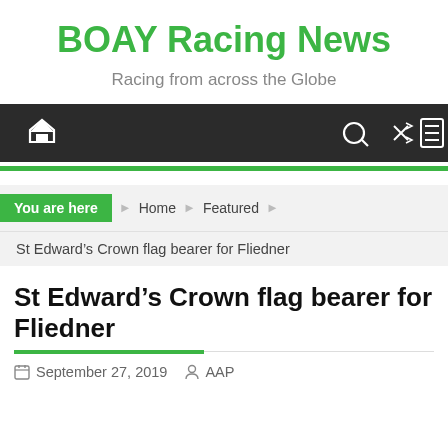BOAY Racing News
Racing from across the Globe
[Figure (screenshot): Navigation bar with home icon on left, search, shuffle, and menu icons on right, dark background]
You are here  Home  Featured  St Edward's Crown flag bearer for Fliedner
St Edward's Crown flag bearer for Fliedner
September 27, 2019   AAP